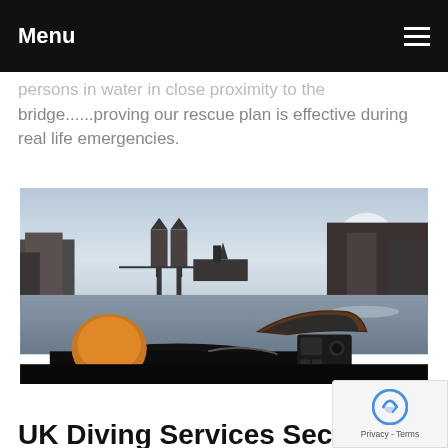Menu
persons in water in close proximity to the bridge......proving our rescue plan is effective during real life emergencies.
[Figure (photo): View from a rigid inflatable boat (RIB) on the River Thames looking toward Tower Bridge in London, with equipment visible in the foreground and HMS Belfast in the background.]
0 comments
UK Diving Services Secure Inspection Contract With